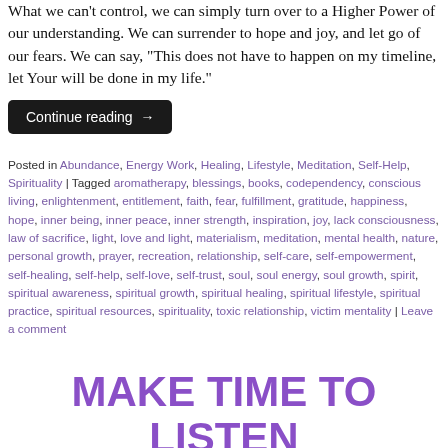What we can't control, we can simply turn over to a Higher Power of our understanding. We can surrender to hope and joy, and let go of our fears. We can say, "This does not have to happen on my timeline, let Your will be done in my life."
Continue reading →
Posted in Abundance, Energy Work, Healing, Lifestyle, Meditation, Self-Help, Spirituality | Tagged aromatherapy, blessings, books, codependency, conscious living, enlightenment, entitlement, faith, fear, fulfillment, gratitude, happiness, hope, inner being, inner peace, inner strength, inspiration, joy, lack consciousness, law of sacrifice, light, love and light, materialism, meditation, mental health, nature, personal growth, prayer, recreation, relationship, self-care, self-empowerment, self-healing, self-help, self-love, self-trust, soul, soul energy, soul growth, spirit, spiritual awareness, spiritual growth, spiritual healing, spiritual lifestyle, spiritual practice, spiritual resources, spirituality, toxic relationship, victim mentality | Leave a comment
MAKE TIME TO LISTEN TO YOUR HEART